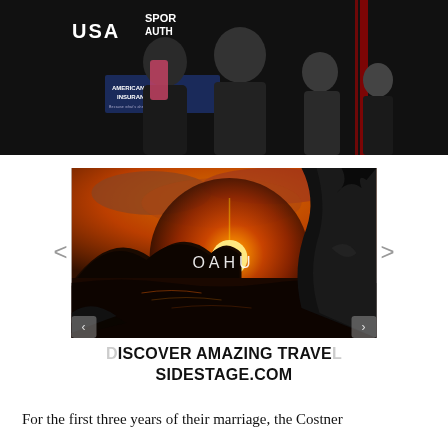[Figure (photo): Group of people in formal wear posing in front of USA and Sports Authority branded backdrop, with American Family Insurance logos visible]
[Figure (photo): Scenic sunset over ocean with rocky coastline, text overlay reading 'OAHU'. Navigation arrows on left and right sides. Below: 'DISCOVER AMAZING TRAVEL SIDESTAGE.COM']
For the first three years of their marriage, the Costner